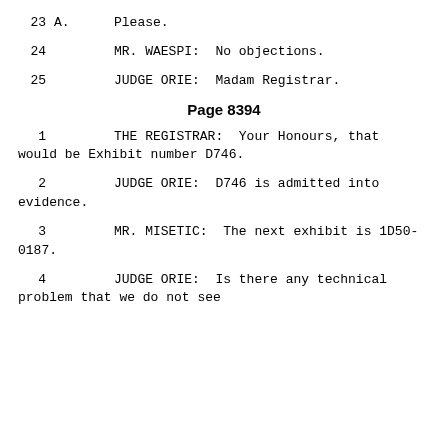23   A.   Please.
24        MR. WAESPI:   No objections.
25        JUDGE ORIE:   Madam Registrar.
Page 8394
1         THE REGISTRAR:  Your Honours, that would be Exhibit number D746.
2         JUDGE ORIE:  D746 is admitted into evidence.
3         MR. MISETIC:  The next exhibit is 1D50-0187.
4         JUDGE ORIE:  Is there any technical problem that we do not see